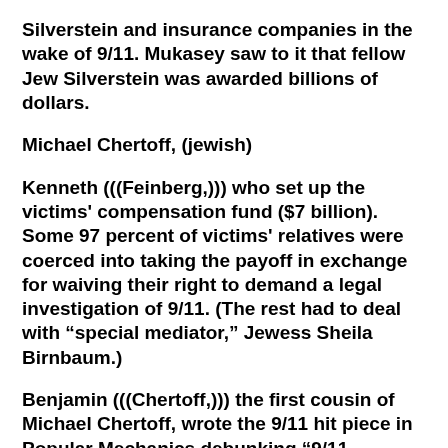Silverstein and insurance companies in the wake of 9/11. Mukasey saw to it that fellow Jew Silverstein was awarded billions of dollars.
Michael Chertoff, (jewish)
Kenneth (((Feinberg,))) who set up the victims' compensation fund ($7 billion). Some 97 percent of victims' relatives were coerced into taking the payoff in exchange for waiving their right to demand a legal investigation of 9/11. (The rest had to deal with “special mediator,” Jewess Sheila Birnbaum.)
Benjamin (((Chertoff,))) the first cousin of Michael Chertoff, wrote the 9/11 hit piece in Popular Mechanics debunking “9/11